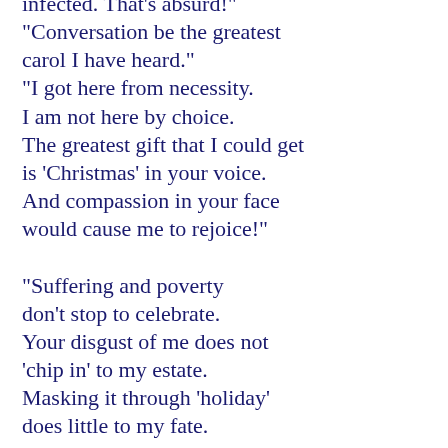infected. That's absurd!"
"Conversation be the greatest carol I have heard."
"I got here from necessity.
I am not here by choice.
The greatest gift that I could get
is 'Christmas' in your voice.
And compassion in your face
would cause me to rejoice!"

"Suffering and poverty
don't stop to celebrate.
Your disgust of me does not
'chip in' to my estate.
Masking it through 'holiday'
does little to my fate.
Is it only 'seasonal'
your assets to compel?
Give your heart to only them
that ring that little bell?"
Brother, keep your false emotions
and go straight to Hell!"